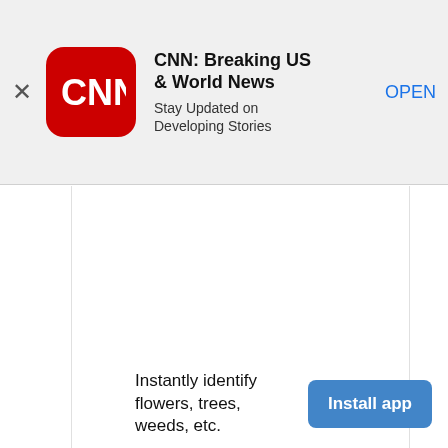[Figure (screenshot): CNN app advertisement banner with CNN logo (white CNN text on red rounded square), title 'CNN: Breaking US & World News', subtitle 'Stay Updated on Developing Stories', and an 'OPEN' link button. A close (X) button is on the left.]
[Figure (screenshot): White blank content area of a webpage, representing main page content area with left and right column borders visible.]
Instantly identify flowers, trees, weeds, etc.
[Figure (screenshot): Blue 'Install app' button on the bottom right of the page.]